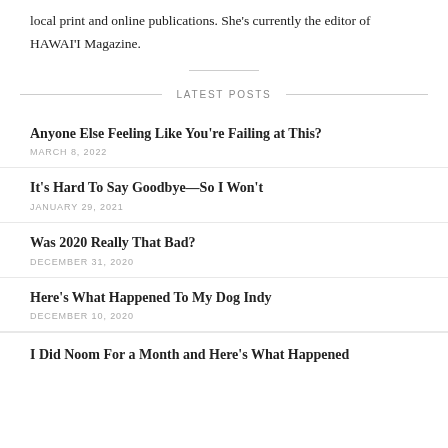local print and online publications. She's currently the editor of HAWAI'I Magazine.
LATEST POSTS
Anyone Else Feeling Like You're Failing at This?
MARCH 8, 2022
It's Hard To Say Goodbye—So I Won't
JANUARY 29, 2021
Was 2020 Really That Bad?
DECEMBER 31, 2020
Here's What Happened To My Dog Indy
DECEMBER 10, 2020
I Did Noom For a Month and Here's What Happened